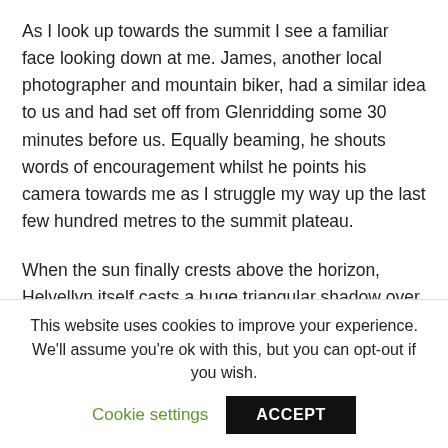As I look up towards the summit I see a familiar face looking down at me. James, another local photographer and mountain biker, had a similar idea to us and had set off from Glenridding some 30 minutes before us. Equally beaming, he shouts words of encouragement whilst he points his camera towards me as I struggle my way up the last few hundred metres to the summit plateau.

When the sun finally crests above the horizon, Helvellyn itself casts a huge triangular shadow over the sea of clouds, and our own shadows become surrounded by Brocken spectres; rare halo-like rainbows only visible in the mountains when specific conditions are met. Soon after, the sun delivers
This website uses cookies to improve your experience. We'll assume you're ok with this, but you can opt-out if you wish.
Cookie settings   ACCEPT